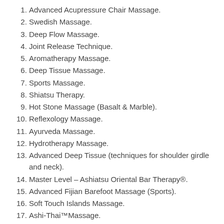Advanced Acupressure Chair Massage.
Swedish Massage.
Deep Flow Massage.
Joint Release Technique.
Aromatherapy Massage.
Deep Tissue Massage.
Sports Massage.
Shiatsu Therapy.
Hot Stone Massage (Basalt & Marble).
Reflexology Massage.
Ayurveda Massage.
Hydrotherapy Massage.
Advanced Deep Tissue (techniques for shoulder girdle and neck).
Master Level – Ashiatsu Oriental Bar Therapy®.
Advanced Fijian Barefoot Massage (Sports).
Soft Touch Islands Massage.
Ashi-Thai™Massage.